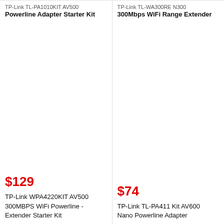TP-Link TL-PA101OKIT AV500 Powerline Adapter Starter Kit
TP-Link TL-WA300RE N300 300Mbps WiFi Range Extender
[Figure (other): Product image area for TP-Link WPA4220KIT (blank/white)]
[Figure (other): Product image area for TP-Link TL-PA411 Kit (blank/white)]
$129
$74
TP-Link WPA4220KIT AV500 300MBPS WiFi Powerline - Extender Starter Kit
TP-Link TL-PA411 Kit AV600 Nano Powerline Adapter